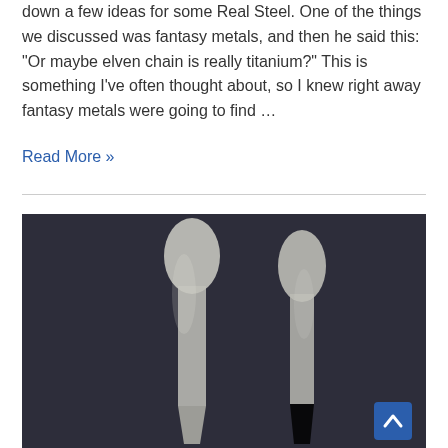down a few ideas for some Real Steel. One of the things we discussed was fantasy metals, and then he said this: “Or maybe elven chain is really titanium?” This is something I’ve often thought about, so I knew right away fantasy metals were going to find …
Read More »
[Figure (photo): Two elongated flat metal blade-like objects (possibly titanium or steel pieces) photographed against a dark grayish-blue background. A blue scroll-to-top button with a white chevron is visible in the lower right corner.]